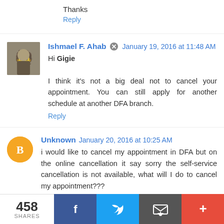Thanks
Reply
Ishmael F. Ahab  January 19, 2016 at 11:48 AM
Hi Gigie

I think it's not a big deal not to cancel your appointment. You can still apply for another schedule at another DFA branch.
Reply
Unknown  January 20, 2016 at 10:25 AM
i would like to cancel my appointment in DFA but on the online cancellation it say sorry the self-service cancellation is not available, what will I do to cancel my appointment???
458 SHARES  Facebook  Twitter  Email  More